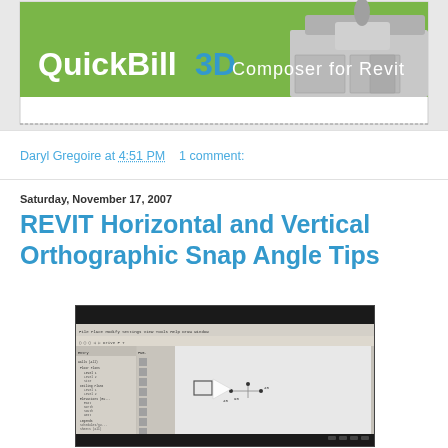[Figure (screenshot): QuickBill3D Composer for Revit banner image with green and grey cabinet/sink illustration and white logo text]
Daryl Gregoire at 4:51 PM    1 comment:
Saturday, November 17, 2007
REVIT Horizontal and Vertical Orthographic Snap Angle Tips
[Figure (screenshot): Video player screenshot showing Revit interface with project browser panel on the left and a viewport with geometric shapes. A play button is visible in the center.]